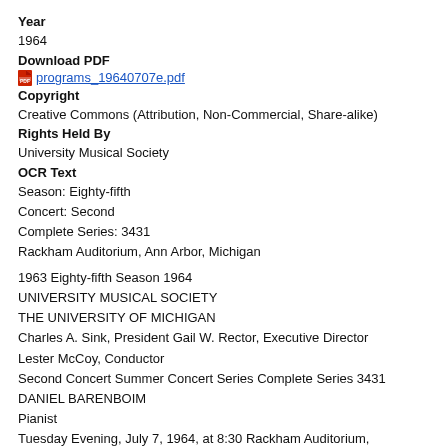Year
1964
Download PDF
programs_19640707e.pdf
Copyright
Creative Commons (Attribution, Non-Commercial, Share-alike)
Rights Held By
University Musical Society
OCR Text
Season: Eighty-fifth
Concert: Second
Complete Series: 3431
Rackham Auditorium, Ann Arbor, Michigan

1963 Eighty-fifth Season 1964
UNIVERSITY MUSICAL SOCIETY
THE UNIVERSITY OF MICHIGAN
Charles A. Sink, President Gail W. Rector, Executive Director
Lester McCoy, Conductor
Second Concert Summer Concert Series Complete Series 3431
DANIEL BARENBOIM
Pianist
Tuesday Evening, July 7, 1964, at 8:30 Rackham Auditorium,
Ann Arbor, Michigan